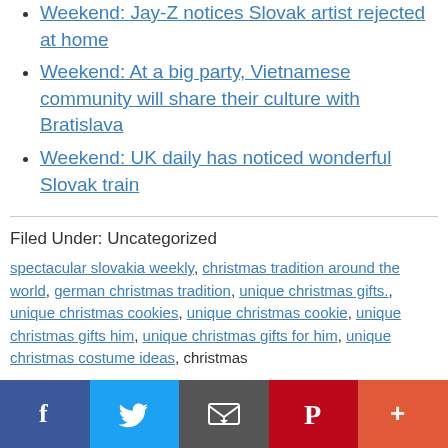Weekend: Jay-Z notices Slovak artist rejected at home
Weekend: At a big party, Vietnamese community will share their culture with Bratislava
Weekend: UK daily has noticed wonderful Slovak train
Filed Under: Uncategorized
spectacular slovakia weekly, christmas tradition around the world, german christmas tradition, unique christmas gifts., unique christmas cookies, unique christmas cookie, unique christmas gifts him, unique christmas gifts for him, unique christmas costume ideas, christmas
Social share bar: Facebook, Twitter, Email, Pinterest, More